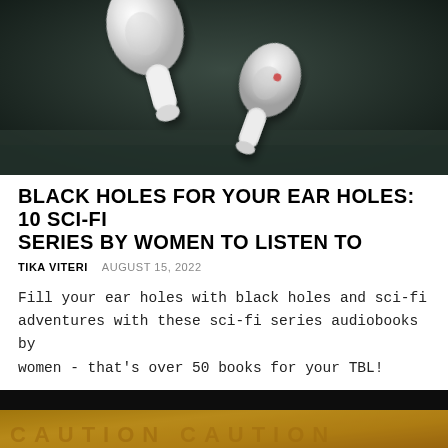[Figure (photo): Close-up photo of white Apple AirPods earbuds on a dark background]
BLACK HOLES FOR YOUR EAR HOLES: 10 SCI-FI SERIES BY WOMEN TO LISTEN TO
TIKA VITERI   AUGUST 15, 2022
Fill your ear holes with black holes and sci-fi adventures with these sci-fi series audiobooks by women - that's over 50 books for your TBL!
[Figure (photo): Close-up photo of yellow caution/crime scene tape on a dark background]